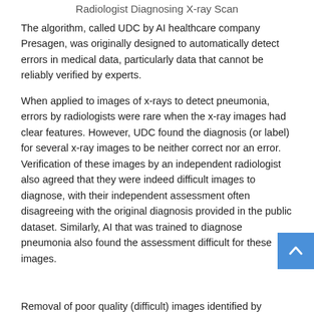Radiologist Diagnosing X-ray Scan
The algorithm, called UDC by AI healthcare company Presagen, was originally designed to automatically detect errors in medical data, particularly data that cannot be reliably verified by experts.
When applied to images of x-rays to detect pneumonia, errors by radiologists were rare when the x-ray images had clear features. However, UDC found the diagnosis (or label) for several x-ray images to be neither correct nor an error. Verification of these images by an independent radiologist also agreed that they were indeed difficult images to diagnose, with their independent assessment often disagreeing with the original diagnosis provided in the public dataset. Similarly, AI that was trained to diagnose pneumonia also found the assessment difficult for these images.
Removal of poor quality (difficult) images identified by